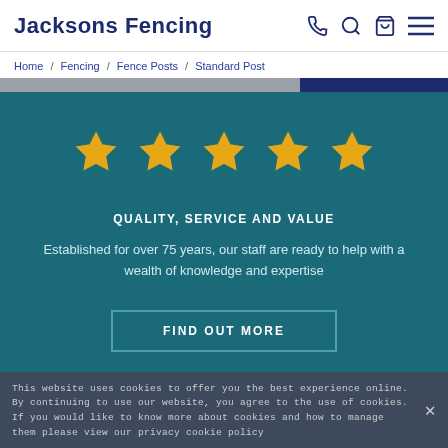Jacksons Fencing
Home / Fencing / Fence Posts / Standard Post
[Figure (infographic): Five gold star rating icons on teal background]
QUALITY, SERVICE AND VALUE
Established for over 75 years, our staff are ready to help with a wealth of knowledge and expertise
FIND OUT MORE
This website uses cookies to offer you the best experience online. By continuing to use our website, you agree to the use of cookies. If you would like to know more about cookies and how to manage them please view our privacy cookie policy